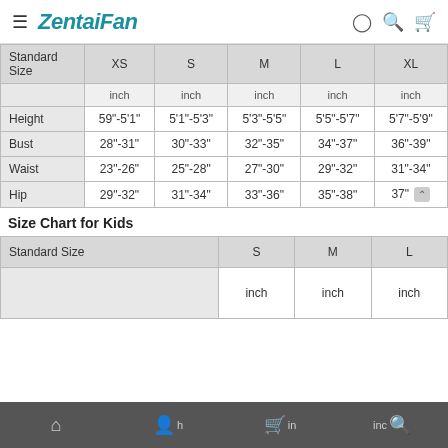ZentaiFan
| Standard Size | XS | S | M | L | XL |
| --- | --- | --- | --- | --- | --- |
|  | inch | inch | inch | inch | inch |
| Height | 59"-5'1" | 5'1"-5'3" | 5'3"-5'5" | 5'5"-5'7" | 5'7"-5'9" |
| Bust | 28"-31" | 30"-33" | 32"-35" | 34"-37" | 36"-39" |
| Waist | 23"-26" | 25"-28" | 27"-30" | 29"-32" | 31"-34" |
| Hip | 29"-32" | 31"-34" | 33"-36" | 35"-38" | 37" |
Size Chart for Kids
| Standard Size | S | M | L |
| --- | --- | --- | --- |